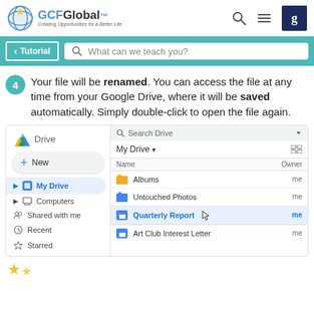GCFGlobal - Creating Opportunities for a Better Life
Tutorial | What can we teach you?
4 Your file will be renamed. You can access the file at any time from your Google Drive, where it will be saved automatically. Simply double-click to open the file again.
[Figure (screenshot): Google Drive interface showing My Drive with files: Albums, Untouched Photos, Quarterly Report (highlighted, with cursor), and Art Club Interest Letter. Left sidebar shows Drive logo, New button, My Drive (active), Computers, Shared with me, Recent, Starred.]